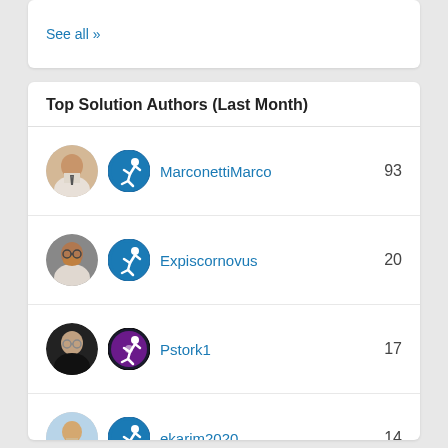See all >>
Top Solution Authors (Last Month)
MarconettiMarco 93
Expiscornovus 20
Pstork1 17
ekarim2020 14
abm 11
See all >>